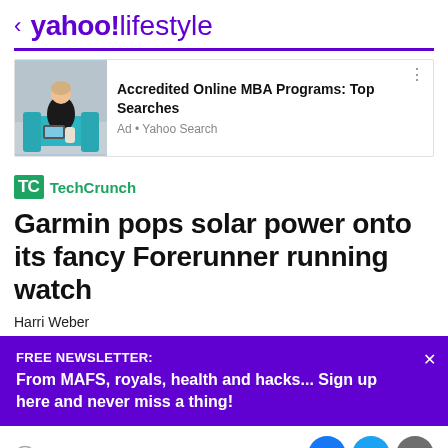< yahoo!lifestyle
[Figure (screenshot): Advertisement for Accredited Online MBA Programs showing a woman sitting on a teal couch with a laptop. Ad title: Accredited Online MBA Programs: Top Searches. Source: Ad • Yahoo Search]
Accredited Online MBA Programs: Top Searches
Ad • Yahoo Search
[Figure (logo): TechCrunch logo: TC in green box followed by TechCrunch in green text]
Garmin pops solar power onto its fancy Forerunner running watch
Harri Weber
FREE NEWSLETTER:
From MAFS, royals, health and hacks... Sign up here and never miss a thing!
View comments